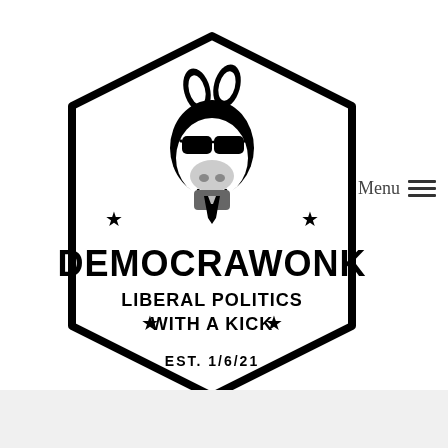[Figure (logo): Democrawonk logo: a hexagonal badge outline containing a donkey wearing sunglasses, bold text DEMOCRAWONK, subtitle LIBERAL POLITICS WITH A KICK flanked by stars, and EST. 1/6/21 at the bottom.]
Menu ≡